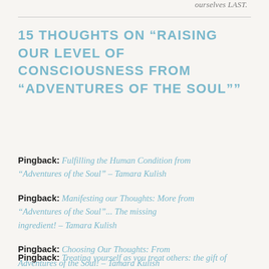ourselves LAST.
15 THOUGHTS ON “RAISING OUR LEVEL OF CONSCIOUSNESS FROM “ADVENTURES OF THE SOUL””
Pingback: Fulfilling the Human Condition from “Adventures of the Soul” – Tamara Kulish
Pingback: Manifesting our Thoughts: More from “Adventures of the Soul”... The missing ingredient! – Tamara Kulish
Pingback: Choosing Our Thoughts: From Adventures of the Soul! – Tamara Kulish
Pingback: Treating yourself as you treat others: the gift of...